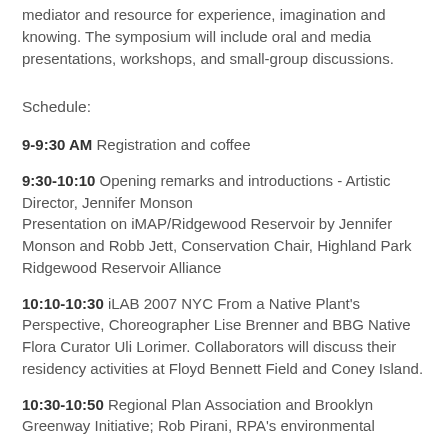mediator and resource for experience, imagination and knowing. The symposium will include oral and media presentations, workshops, and small-group discussions.
Schedule:
9-9:30 AM Registration and coffee
9:30-10:10 Opening remarks and introductions - Artistic Director, Jennifer Monson
Presentation on iMAP/Ridgewood Reservoir by Jennifer Monson and Robb Jett, Conservation Chair, Highland Park Ridgewood Reservoir Alliance
10:10-10:30 iLAB 2007 NYC From a Native Plant's Perspective, Choreographer Lise Brenner and BBG Native Flora Curator Uli Lorimer. Collaborators will discuss their residency activities at Floyd Bennett Field and Coney Island.
10:30-10:50 Regional Plan Association and Brooklyn Greenway Initiative; Rob Pirani, RPA's environmental